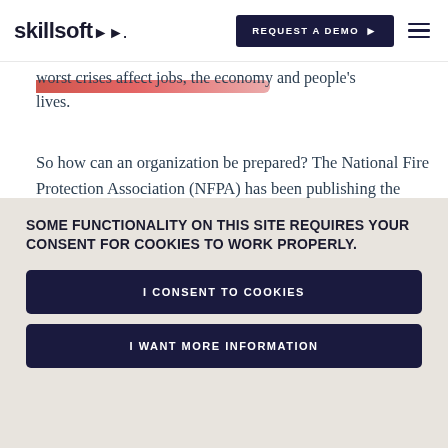skillsoft | REQUEST A DEMO
worst crises affect jobs, the economy and people's lives.
So how can an organization be prepared? The National Fire Protection Association (NFPA) has been publishing the standard on continuity, emergency and crisis management, known as the NFPA 1600, since
SOME FUNCTIONALITY ON THIS SITE REQUIRES YOUR CONSENT FOR COOKIES TO WORK PROPERLY.
I CONSENT TO COOKIES
I WANT MORE INFORMATION